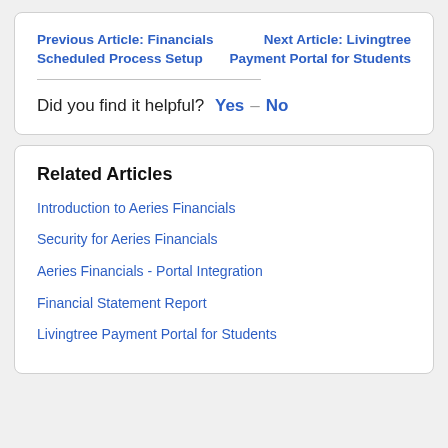Previous Article: Financials Scheduled Process Setup
Next Article: Livingtree Payment Portal for Students
Did you find it helpful? Yes — No
Related Articles
Introduction to Aeries Financials
Security for Aeries Financials
Aeries Financials - Portal Integration
Financial Statement Report
Livingtree Payment Portal for Students